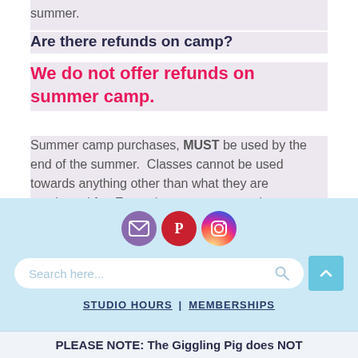summer.
Are there refunds on camp?
We do not offer refunds on summer camp.
Summer camp purchases, MUST be used by the end of the summer. Classes cannot be used towards anything other than what they are purchased for. Example, you cannot apply summer camps towards art lessons or gifts.
[Figure (other): Social media icons: email (purple), Pinterest (red), Instagram (gradient)]
Search here...
STUDIO HOURS | MEMBERSHIPS
PLEASE NOTE: The Giggling Pig does NOT